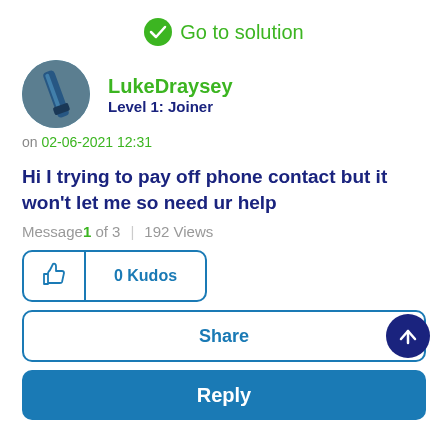Go to solution
[Figure (illustration): User avatar showing a close-up photo of what appears to be a pen or stylus on a dark background, circular crop]
LukeDraysey
Level 1: Joiner
on 02-06-2021 12:31
Hi I trying to pay off phone contact but it won't let me so need ur help
Message 1 of 3  |  192 Views
0 Kudos
Share
Reply